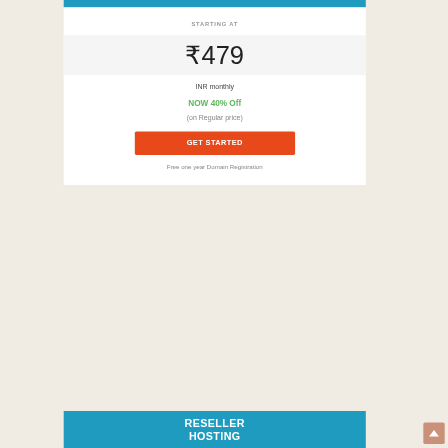STARTING AT
₹479
INR monthly
NOW 40% Off
(on Regular price)
GET STARTED
Free one year Domain Registration
RESELLER HOSTING